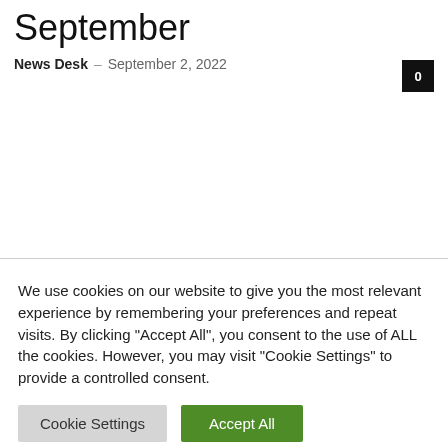September
News Desk – September 2, 2022
We use cookies on our website to give you the most relevant experience by remembering your preferences and repeat visits. By clicking "Accept All", you consent to the use of ALL the cookies. However, you may visit "Cookie Settings" to provide a controlled consent.